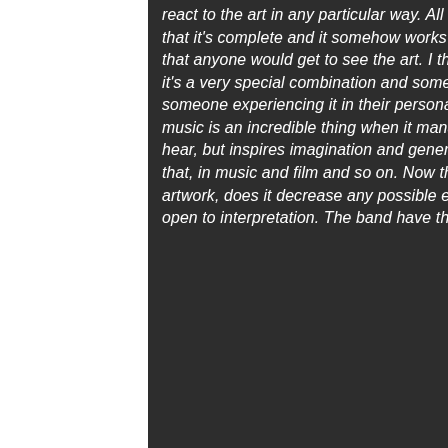react to the art in any particular way. All I can do is create the painting and feel that it's complete and it somehow works in my mind, but beyond that, it's cool that anyone would get to see the art. I think if people like it, and love the music, it's a very special combination and somewhere between those things is someone experiencing it in their personal way. I know for certain that art and music is an incredible thing when it manages to be not just what you see and hear, but inspires imagination and generates ideas in people. The best art does that, in music and film and so on. Now that I gave my interpretation of the artwork, does it decrease any possible enigma? Quite possibly, but it's still open to interpretation. The band have their
[Figure (photo): A dark, shadowy photograph occupying the right portion of the page, showing a figure or portrait in low-key lighting with grey tones.]